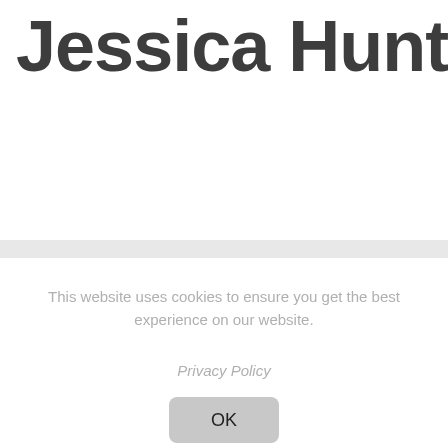Jessica Hunter
This website uses cookies to ensure you get the best experience on our website.
Privacy Policy
OK